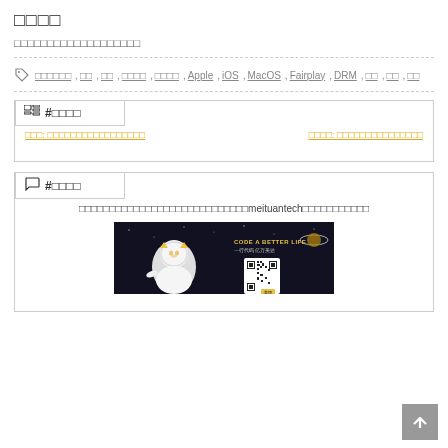□□□□
□□□□□□□□□□□□□□□□□□□
□□□□□□, □□, □□, □□□□, □□□□, Apple, iOS, MacOS, Fairplay, DRM, □□, □□, □□
#□□□□
□□□: □□□□□□□□□□□□□□□□□
□□□□: □□□□□□□□□□□□□□□
#□□□□
□□□□□□□□□□□□□□□□□□□□□□□□□□□□meituantech□□□□□□□□□□□
[Figure (photo): Meituan tech promotional image showing mascot in spacesuit with QR code and 'CODE A BETTER LIFE' text]